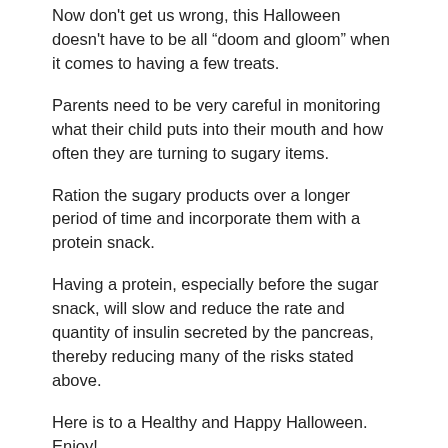Now don't get us wrong, this Halloween doesn't have to be all “doom and gloom” when it comes to having a few treats.
Parents need to be very careful in monitoring what their child puts into their mouth and how often they are turning to sugary items.
Ration the sugary products over a longer period of time and incorporate them with a protein snack.
Having a protein, especially before the sugar snack, will slow and reduce the rate and quantity of insulin secreted by the pancreas, thereby reducing many of the risks stated above.
Here is to a Healthy and Happy Halloween. Enjoy!